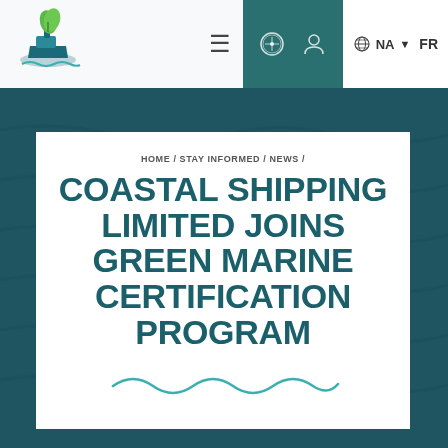[Figure (logo): Green Marine ship with leaf logo in teal and green colors]
≡  ⊙  ♠  🌐 NA ▼  FR
HOME / STAY INFORMED / NEWS /
COASTAL SHIPPING LIMITED JOINS GREEN MARINE CERTIFICATION PROGRAM
[Figure (illustration): Wavy teal decorative line illustration]